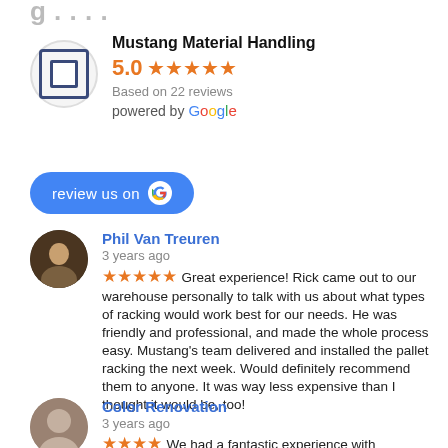Mustang Material Handling
5.0 ★★★★★
Based on 22 reviews
powered by Google
[Figure (other): Blue 'review us on Google' button with Google G icon]
Phil Van Treuren
3 years ago
★★★★★ Great experience! Rick came out to our warehouse personally to talk with us about what types of racking would work best for our needs. He was friendly and professional, and made the whole process easy. Mustang's team delivered and installed the pallet racking the next week. Would definitely recommend them to anyone. It was way less expensive than I thought it would be, too!
Color Renovation
3 years ago
★★★★ We had a fantastic experience with